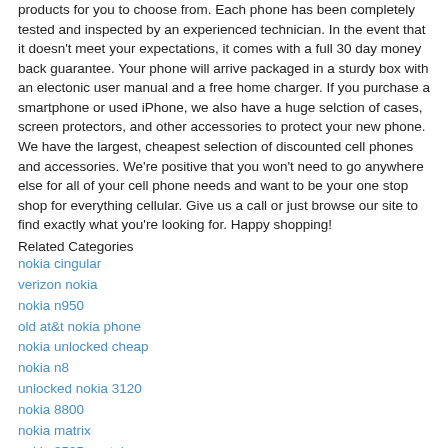products for you to choose from. Each phone has been completely tested and inspected by an experienced technician. In the event that it doesn't meet your expectations, it comes with a full 30 day money back guarantee. Your phone will arrive packaged in a sturdy box with an electonic user manual and a free home charger. If you purchase a smartphone or used iPhone, we also have a huge selction of cases, screen protectors, and other accessories to protect your new phone. We have the largest, cheapest selection of discounted cell phones and accessories. We're positive that you won't need to go anywhere else for all of your cell phone needs and want to be your one stop shop for everything cellular. Give us a call or just browse our site to find exactly what you're looking for. Happy shopping!
Related Categories
nokia cingular
verizon nokia
nokia n950
old at&t nokia phone
nokia unlocked cheap
nokia n8
unlocked nokia 3120
nokia 8800
nokia matrix
nokia 3595 youtube